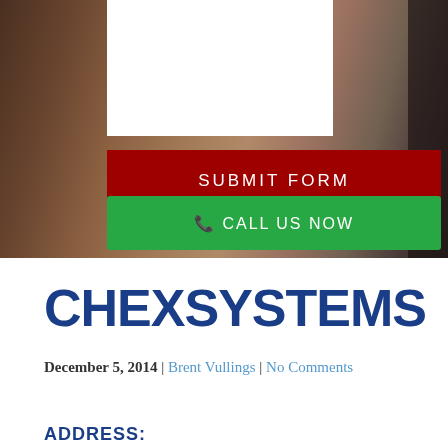[Figure (screenshot): Hero section with dark brown background showing what appears to be leather/wallet items. Contains a white input box area at top left, a red 'SUBMIT FORM' button, and a green 'CALL US NOW' button with phone icon. Dark panel on right side.]
CHEXSYSTEMS
December 5, 2014 | Brent Vullings | No Comments
ADDRESS: